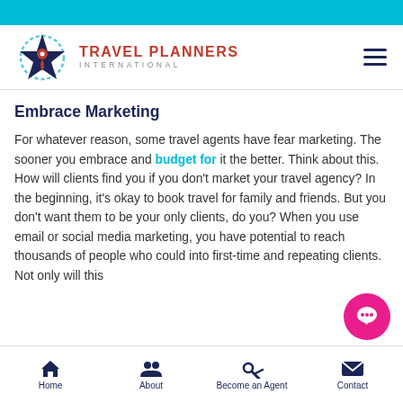Travel Planners International
Embrace Marketing
For whatever reason, some travel agents have fear marketing. The sooner you embrace and budget for it the better. Think about this. How will clients find you if you don't market your travel agency? In the beginning, it's okay to book travel for family and friends. But you don't want them to be your only clients, do you? When you use email or social media marketing, you have potential to reach thousands of people who could into first-time and repeating clients. Not only will this
Home  About  Become an Agent  Contact